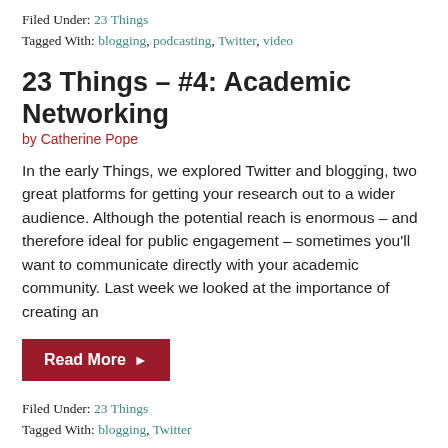Filed Under: 23 Things
Tagged With: blogging, podcasting, Twitter, video
23 Things – #4: Academic Networking
by Catherine Pope
In the early Things, we explored Twitter and blogging, two great platforms for getting your research out to a wider audience. Although the potential reach is enormous – and therefore ideal for public engagement – sometimes you'll want to communicate directly with your academic community. Last week we looked at the importance of creating an
Read More ▶
Filed Under: 23 Things
Tagged With: blogging, Twitter